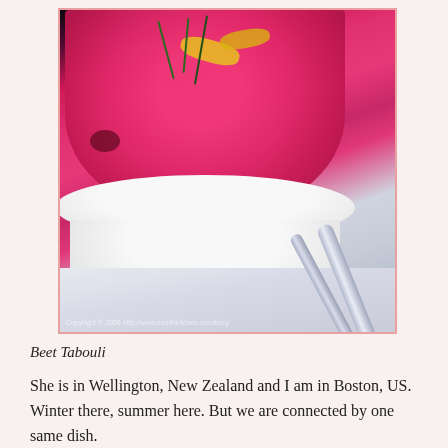[Figure (photo): A white bowl filled with bright pink/magenta beet tabouli garnished with yellow peppers and green herbs, placed on a white plate with a spoon, photographed from a close angle. Watermark reads: Copyright © 2008 http://www.healthkitchen.com/blog/]
Beet Tabouli
She is in Wellington, New Zealand and I am in Boston, US. Winter there, summer here. But we are connected by one same dish.